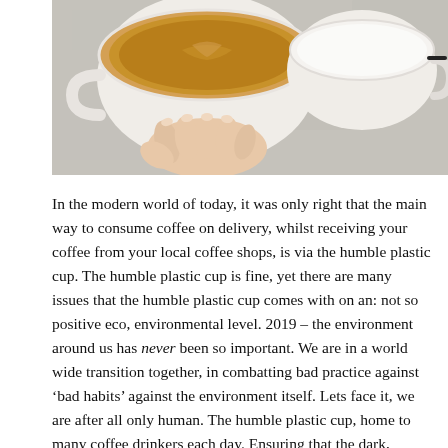[Figure (photo): Top-down view of a hand holding a white coffee mug with espresso/latte, next to a second white cup of milk or cream, on a grey concrete surface.]
In the modern world of today, it was only right that the main way to consume coffee on delivery, whilst receiving your coffee from your local coffee shops, is via the humble plastic cup. The humble plastic cup is fine, yet there are many issues that the humble plastic cup comes with on an: not so positive eco, environmental level. 2019 – the environment around us has never been so important. We are in a world wide transition together, in combatting bad practice against 'bad habits' against the environment itself. Lets face it, we are after all only human. The humble plastic cup, home to many coffee drinkers each day. Ensuring that the dark, smooth liquid, stored warmly within it. The